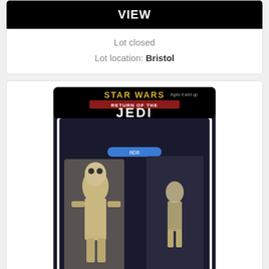VIEW
Lot closed
Lot location: Bristol
[Figure (photo): Star Wars Return of the Jedi vintage MOC carded action figure (8D8 droid) in original packaging]
Lot 8
STAR WARS - ORIGINAL VINTAGE MOC CARDED ACTION FIGURE
110 GBP
Closing bid